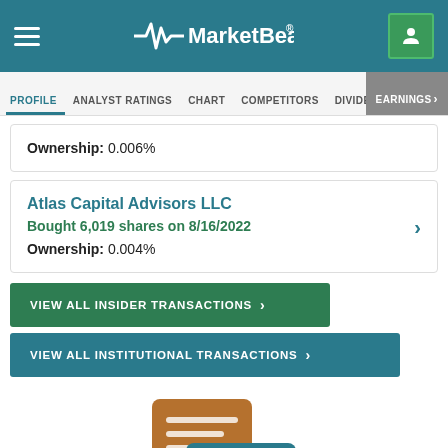MarketBeat
PROFILE | ANALYST RATINGS | CHART | COMPETITORS | DIVIDEND | EARNINGS
Ownership: 0.006%
Atlas Capital Advisors LLC
Bought 6,019 shares on 8/16/2022
Ownership: 0.004%
VIEW ALL INSIDER TRANSACTIONS >
VIEW ALL INSTITUTIONAL TRANSACTIONS >
[Figure (illustration): Chat bubble illustration with two overlapping speech bubbles — one brown (amber) and one dark teal — with horizontal lines inside them, and a small horizontal lines element below.]